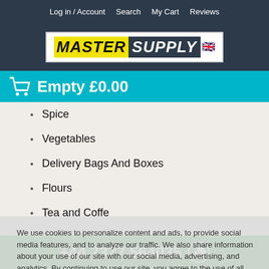Log in / Account   Search   My Cart   Reviews
[Figure (logo): MasterSupply logo with yellow MASTER text and dark SUPPLY text with UK flag]
Empty  £0.00
Spice
Vegetables
Delivery Bags And Boxes
Flours
Tea and Coffe
Batter Mixes And Breadings
Burger and Chips Box
Paper and Plastic Bags
Containers
We use cookies to personalize content and ads, to provide social media features, and to analyze our traffic. We also share information about your use of our site with our social media, advertising, and analytics. By continuing to use our site, you agree to the use of all cookies. More information can be found in our Cookies and Privacy Policy
+44 7377 564035